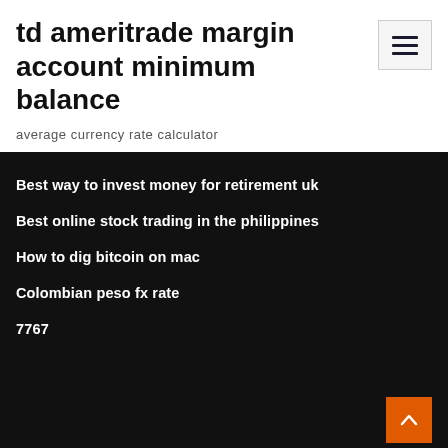td ameritrade margin account minimum balance
average currency rate calculator
Best way to invest money for retirement uk
Best online stock trading in the philippines
How to dig bitcoin on mac
Colombian peso fx rate
7767
Copyright © 2021  |  Powered by WordPress  |  ConsultStreet theme by